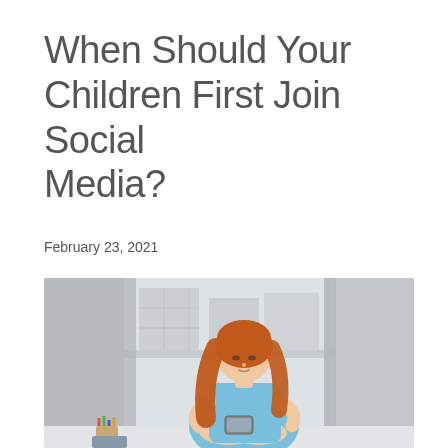When Should Your Children First Join Social Media?
February 23, 2021
[Figure (photo): Young red-haired girl in a blue dress sitting cross-legged on a window sill, looking down at a smartphone she holds in her hands. In the background is a blurred urban scene through a large window. In the bottom left corner, a cup of colored pencils and a book are partially visible.]